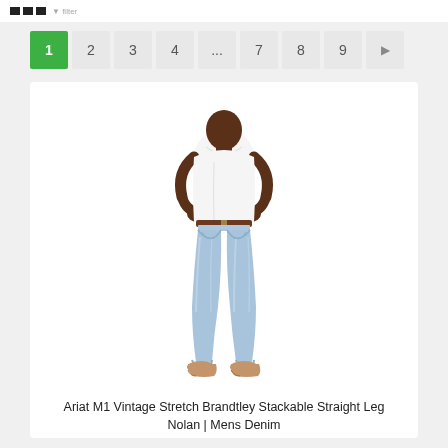Icons and navigation header
1  2  3  4  ...  7  8  9  ▶
[Figure (photo): A man wearing light blue wash straight-leg jeans, white t-shirt, brown leather belt and tan cowboy boots, standing against a white background with hands on hips.]
Ariat M1 Vintage Stretch Brandtley Stackable Straight Leg Nolan | Mens Denim